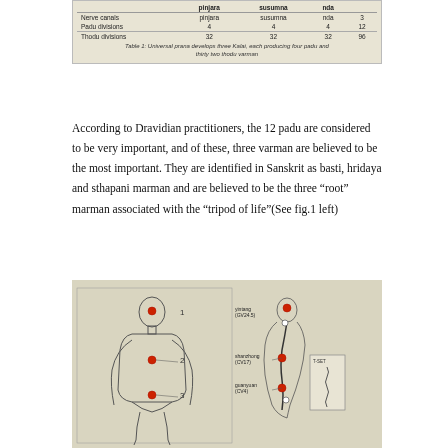|  | pinjara | susumna | nda |  |
| --- | --- | --- | --- | --- |
| Nerve canals | pinjara | susumna | nda | 3 |
| Padu divisions | 4 | 4 | 4 | 12 |
| Thodu divisions | 32 | 32 | 32 | 96 |
Table 1: Universal prana develops three Kalai, each producing four padu and thirty two thodu varman
According to Dravidian practitioners, the 12 padu are considered to be very important, and of these, three varman are believed to be the most important. They are identified in Sanskrit as basti, hridaya and sthapani marman and are believed to be the three "root" marman associated with the "tripod of life"(See fig.1 left)
[Figure (illustration): Figure 1 showing anatomical diagram with a front-view human body outline with three red dots marking basti, hridaya and sthapani marman points (numbered 1, 2, 3), alongside a side-view silhouette showing the same three points connected by a vertical channel, labeled with yintang (GV24.5), shanzhong (CV17), and guanyuan (CV4), plus a small inset of the spine.]